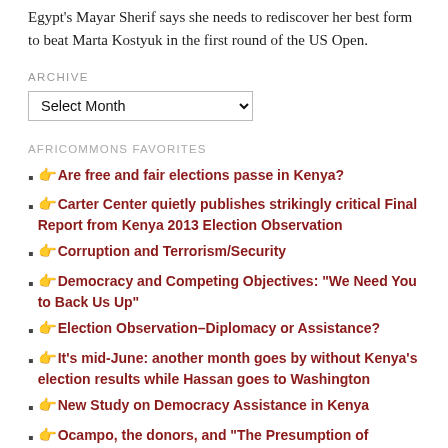Egypt's Mayar Sherif says she needs to rediscover her best form to beat Marta Kostyuk in the first round of the US Open.
ARCHIVE
AFRICOMMONS FAVORITES
👉 Are free and fair elections passe in Kenya?
👉 Carter Center quietly publishes strikingly critical Final Report from Kenya 2013 Election Observation
👉 Corruption and Terrorism/Security
👉 Democracy and Competing Objectives: "We Need You to Back Us Up"
👉 Election Observation–Diplomacy or Assistance?
👉 It's mid-June: another month goes by without Kenya's election results while Hassan goes to Washington
👉 New Study on Democracy Assistance in Kenya
👉 Ocampo, the donors, and "The Presumption of